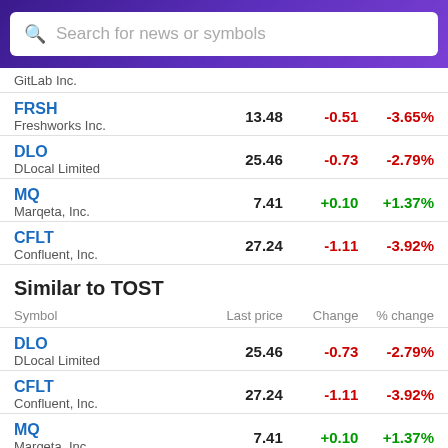Search for news or symbols
GitLab Inc.
| Symbol | Last price | Change | % change |
| --- | --- | --- | --- |
| FRSH / Freshworks Inc. | 13.48 | -0.51 | -3.65% |
| DLO / DLocal Limited | 25.46 | -0.73 | -2.79% |
| MQ / Marqeta, Inc. | 7.41 | +0.10 | +1.37% |
| CFLT / Confluent, Inc. | 27.24 | -1.11 | -3.92% |
Similar to TOST
| Symbol | Last price | Change | % change |
| --- | --- | --- | --- |
| DLO / DLocal Limited | 25.46 | -0.73 | -2.79% |
| CFLT / Confluent, Inc. | 27.24 | -1.11 | -3.92% |
| MQ / Marqeta, Inc. | 7.41 | +0.10 | +1.37% |